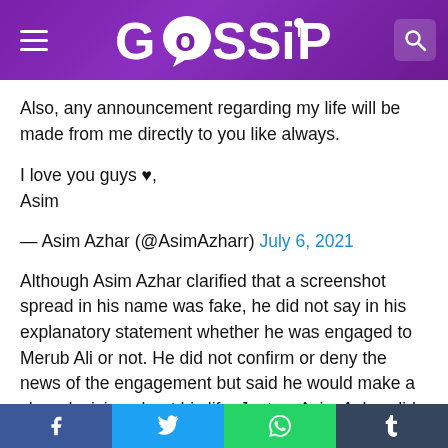GOSSIP
Also, any announcement regarding my life will be made from me directly to you like always.
I love you guys ♥,
Asim
— Asim Azhar (@AsimAzharr) July 6, 2021
Although Asim Azhar clarified that a screenshot spread in his name was fake, he did not say in his explanatory statement whether he was engaged to Merub Ali or not. He did not confirm or deny the news of the engagement but said he would make a clear decision about his life. Just as Asim Azhar did not explicitly deny the news of the engagement, so far Merub Ali has not issued any
Facebook | Twitter | WhatsApp | Tumblr